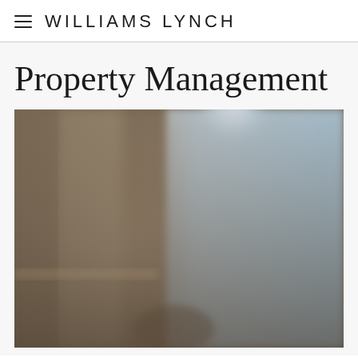WILLIAMS LYNCH
Property Management
[Figure (photo): Blurred interior/exterior photo showing a building scene with warm brown and beige tones on the left side and light blue sky tones on the upper right, appearing to be a slightly out-of-focus architectural or property photograph.]